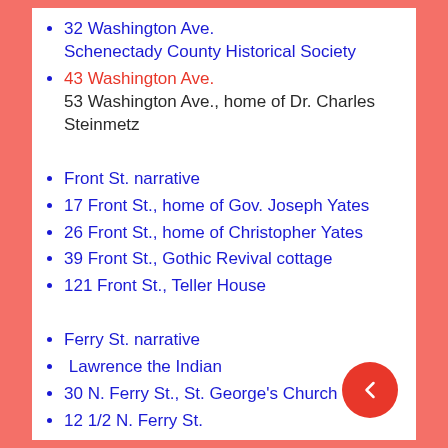32 Washington Ave.
Schenectady County Historical Society
43 Washington Ave.
53 Washington Ave., home of Dr. Charles Steinmetz
Front St. narrative
17 Front St., home of Gov. Joseph Yates
26 Front St., home of Christopher Yates
39 Front St., Gothic Revival cottage
121 Front St., Teller House
Ferry St. narrative
Lawrence the Indian
30 N. Ferry St., St. George's Church
12 1/2 N. Ferry St.